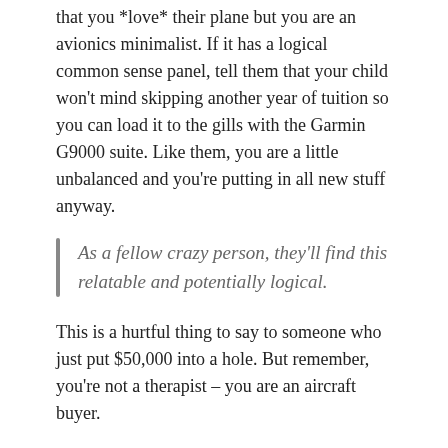that you *love* their plane but you are an avionics minimalist. If it has a logical common sense panel, tell them that your child won't mind skipping another year of tuition so you can load it to the gills with the Garmin G9000 suite. Like them, you are a little unbalanced and you're putting in all new stuff anyway.
As a fellow crazy person, they'll find this relatable and potentially logical.
This is a hurtful thing to say to someone who just put $50,000 into a hole. But remember, you're not a therapist – you are an aircraft buyer.
#4 Appearance
One Skywagon I bought had a lot of reds